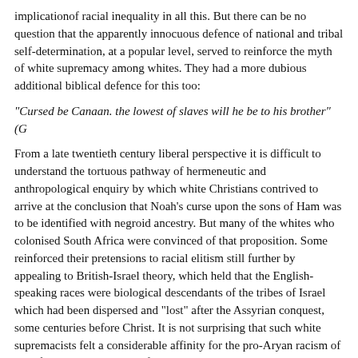implicationof racial inequality in all this. But there can be no question that the apparently innocuous defence of national and tribal self-determination, at a popular level, served to reinforce the myth of white supremacy among whites. They had a more dubious additional biblical defence for this too:
"Cursed be Canaan. the lowest of slaves will he be to his brother" (G
From a late twentieth century liberal perspective it is difficult to understand the tortuous pathway of hermeneutic and anthropological enquiry by which white Christians contrived to arrive at the conclusion that Noah's curse upon the sons of Ham was to be identified with negroid ancestry. But many of the whites who colonised South Africa were convinced of that proposition. Some reinforced their pretensions to racial elitism still further by appealing to British-Israel theory, which held that the English-speaking races were biological descendants of the tribes of Israel which had been dispersed and "lost" after the Assyrian conquest, some centuries before Christ. It is not surprising that such white supremacists felt a considerable affinity for the pro-Aryan racism of Adolf Hitler in the years before the Second World War.
It was not only in Africa that such exegesis proved influential among Christians either. Before the American Civil War, plantation owners looked to the same kind of biblical arguments to rationalise their economic exploitation of black slaves. It capitalising on such traditions that the Ku Klux Klan later managed to commend itself to many as a Christian movement too. But all this, of course, raises the issue of yet another mistake that the Church has made during most of the last